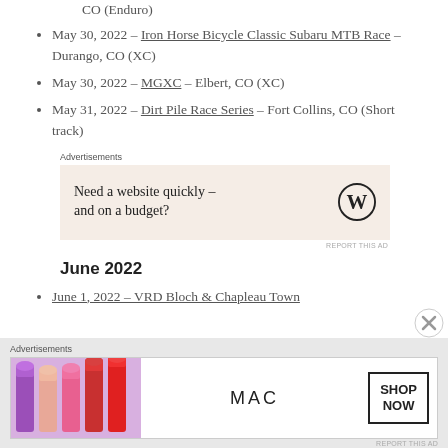CO (Enduro)
May 30, 2022 – Iron Horse Bicycle Classic Subaru MTB Race – Durango, CO (XC)
May 30, 2022 – MGXC – Elbert, CO (XC)
May 31, 2022 – Dirt Pile Race Series – Fort Collins, CO (Short track)
[Figure (other): WordPress advertisement: 'Need a website quickly – and on a budget?' with WordPress logo on beige background]
June 2022
June 1, 2022 – VRD Bloch & Chapleau Town
[Figure (other): MAC cosmetics advertisement showing lipsticks with 'SHOP NOW' button]